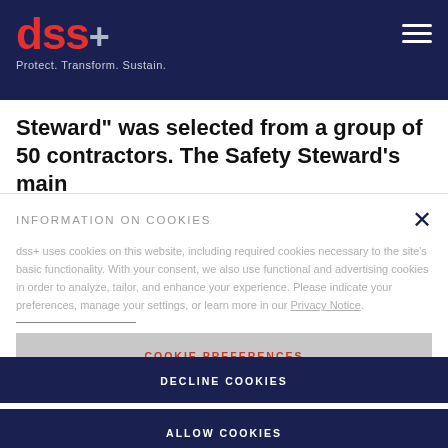dss+ Protect. Transform. Sustain.
Steward" was selected from a group of 50 contractors. The Safety Steward's main
INFORMATION ON COOKIES
dss+ uses cookies on this website, including required cookies necessary to the site's basic functionality. With your consent, we also use functional and advertising cookies in order to analyze, tailor, and enhance your experience. Please indicate your preferences, manage your settings, or learn more in our Privacy Notice.
COOKIE PREFERENCES
DECLINE COOKIES
ALLOW COOKIES